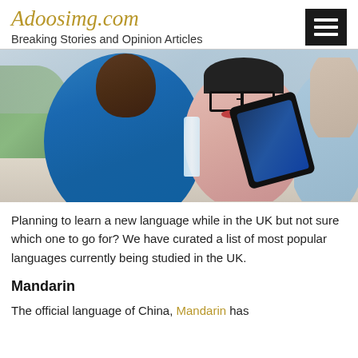Adoosimg.com — Breaking Stories and Opinion Articles
[Figure (photo): Group of young people sitting outdoors at a table, smiling and looking at a tablet together. One person wears a blue shirt, another wears a black hat and glasses. Books and a water bottle are on the table.]
Planning to learn a new language while in the UK but not sure which one to go for? We have curated a list of most popular languages currently being studied in the UK.
Mandarin
The official language of China, Mandarin has